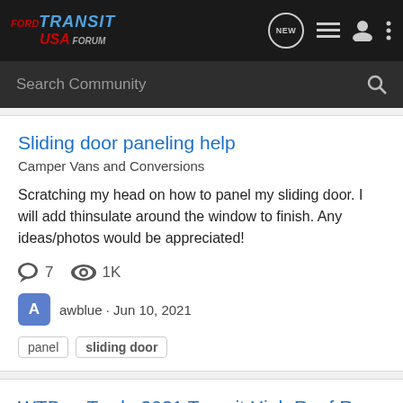Ford Transit USA Forum
Search Community
Sliding door paneling help
Camper Vans and Conversions
Scratching my head on how to panel my sliding door. I will add thinsulate around the window to finish. Any ideas/photos would be appreciated!
7 comments · 1K views
awblue · Jun 10, 2021
panel · sliding door
WTB or Trade 2021 Transit High Roof Rear Sliding Door (No Window) (Trade for my door that has the glass?)